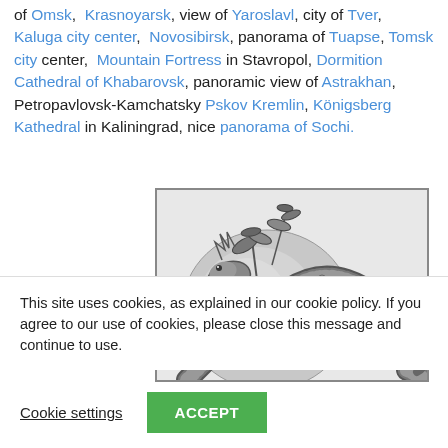of Omsk, Krasnoyarsk, view of Yaroslavl, city of Tver, Kaluga city center, Novosibirsk, panorama of Tuapse, Tomsk city center, Mountain Fortress in Stavropol, Dormition Cathedral of Khabarovsk, panoramic view of Astrakhan, Petropavlovsk-Kamchatsky Pskov Kremlin, Königsberg Kathedral in Kaliningrad, nice panorama of Sochi.
[Figure (illustration): Black and white pencil illustration of a fantastical creature resembling a large serpent or dragon with plants/foliage growing on its back, partially cropped]
This site uses cookies, as explained in our cookie policy. If you agree to our use of cookies, please close this message and continue to use.
Cookie settings   ACCEPT